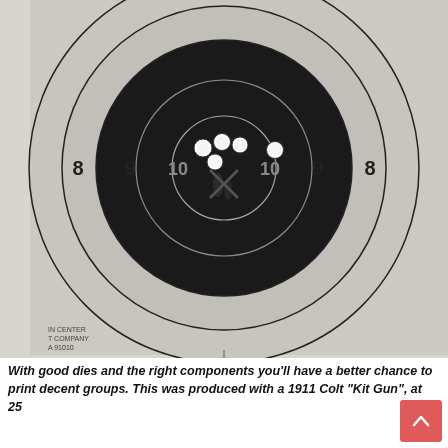[Figure (photo): A shooting target showing concentric rings labeled 8, 9, 10, 10, 9, 8 from outside to inside. The large black center bullseye region contains several bullet holes clustered near the center/X ring, appearing as white holes with dark splatter marks. Small printed text at bottom left of target reads 'IN CENTER / T COMPANY / A 91010'. The image is black and white/grayscale.]
With good dies and the right components you'll have a better chance to print decent groups. This was produced with a 1911 Colt "Kit Gun", at 25